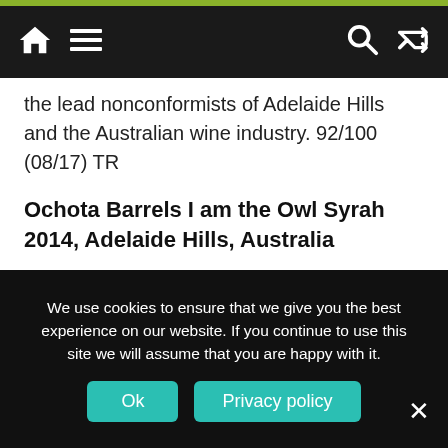Navigation bar with home, menu, search, and shuffle icons
the lead nonconformists of Adelaide Hills and the Australian wine industry. 92/100 (08/17) TR
Ochota Barrels I am the Owl Syrah 2014, Adelaide Hills, Australia
Sourced from “the gorgeous section” of seventeen-year-old vines, this was bottle 1 482 of 2262 from Mount Barker in the Adelaide Hills and produced in a natural way by Taras Ochota and his wife Amber. Textured, perfumed dark plum, fine smoke and herbal brambled blackcurrant pulse with a taut acidity along fine, slightly grippy and cloudy tannins. Persistent
We use cookies to ensure that we give you the best experience on our website. If you continue to use this site we will assume that you are happy with it.